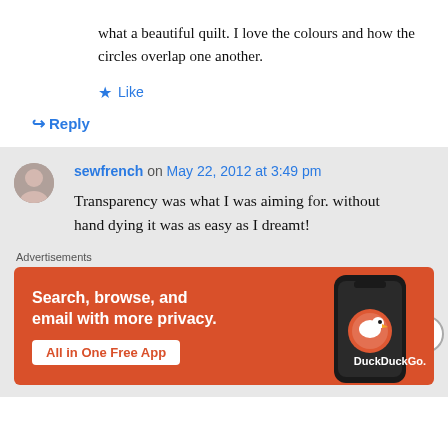what a beautiful quilt. I love the colours and how the circles overlap one another.
★ Like
↪ Reply
sewfrench on May 22, 2012 at 3:49 pm
Transparency was what I was aiming for. without hand dying it was as easy as I dreamt!
Advertisements
[Figure (screenshot): DuckDuckGo advertisement banner with orange background showing 'Search, browse, and email with more privacy. All in One Free App' with phone image and DuckDuckGo logo]